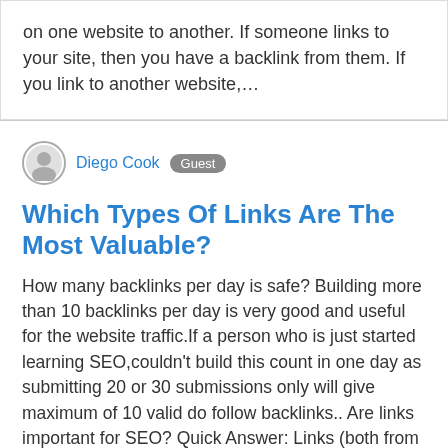on one website to another. If someone links to your site, then you have a backlink from them. If you link to another website,…
Diego Cook  Guest
Which Types Of Links Are The Most Valuable?
How many backlinks per day is safe? Building more than 10 backlinks per day is very good and useful for the website traffic.If a person who is just started learning SEO,couldn't build this count in one day as submitting 20 or 30 submissions only will give maximum of 10 valid do follow backlinks.. Are links important for SEO? Quick Answer: Links (both from other websites as well as the links within your own site) are important to SEO because there is